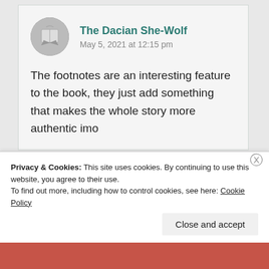The Dacian She-Wolf
May 5, 2021 at 12:15 pm
The footnotes are an interesting feature to the book, they just add something that makes the whole story more authentic imo
Privacy & Cookies: This site uses cookies. By continuing to use this website, you agree to their use.
To find out more, including how to control cookies, see here: Cookie Policy
Close and accept